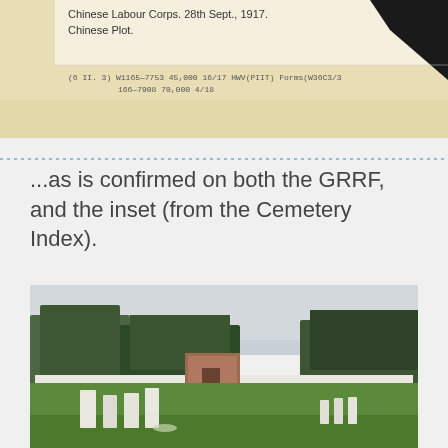[Figure (photo): Aged document/card image showing text: 'Chinese Labour Corps. 28th Sept., 1917. Chinese Plot.' with form/reference numbers at bottom: '(6 II. 3) W1165-7753 45,000 16/17 HWV(PIIT) Forms(W36C3/3 166-7908 70,000 4/18']
...as is confirmed on both the GRRF, and the inset (from the Cemetery Index).
[Figure (photo): Outdoor photograph of a military cemetery with green lawn, several white upright grave markers in a row, a brick memorial structure in the background, and trees lining the perimeter under an overcast sky.]